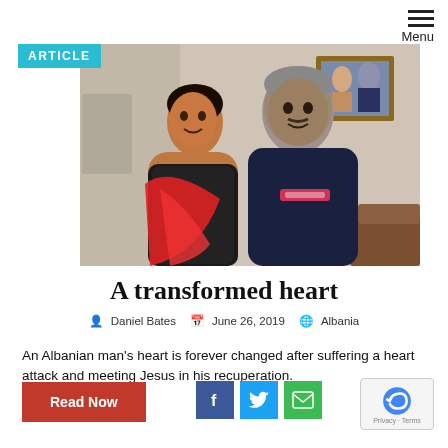Menu
ARTICLE
[Figure (photo): A couple — a shorter woman with a red scarf and a taller man in a dark navy sweatshirt — posing together indoors. A framed photo of them hangs on the wall behind them.]
A transformed heart
Daniel Bates  June 26, 2019  Albania
An Albanian man's heart is forever changed after suffering a heart attack and meeting Jesus in his recuperation.
Read Now